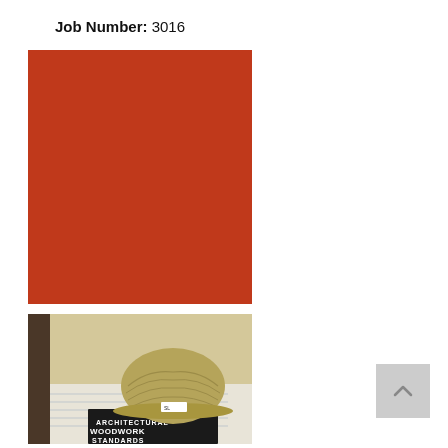Job Number: 3016
[Figure (illustration): Solid red-orange rectangle filling the upper-left image area]
[Figure (photo): Photo of a wood-grain hard hat resting on top of an 'Architectural Woodwork Standards' book, with architectural drawings visible underneath, on a desk with a light-colored wall in background]